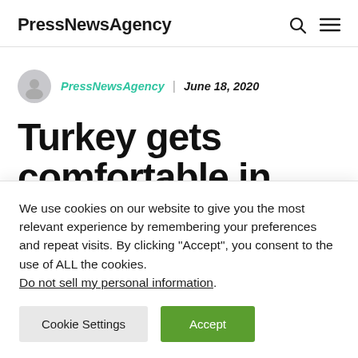PressNewsAgency
PressNewsAgency | June 18, 2020
Turkey gets comfortable in
We use cookies on our website to give you the most relevant experience by remembering your preferences and repeat visits. By clicking “Accept”, you consent to the use of ALL the cookies. Do not sell my personal information.
Cookie Settings  Accept